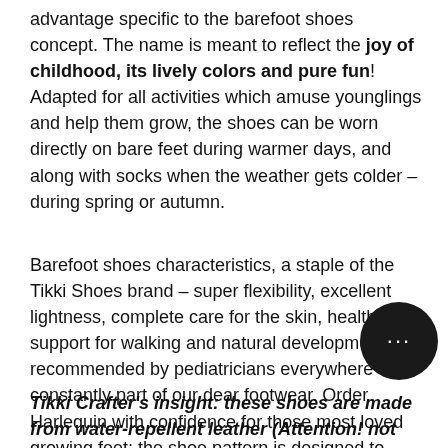advantage specific to the barefoot shoes concept. The name is meant to reflect the joy of childhood, its lively colors and pure fun! Adapted for all activities which amuse younglings and help them grow, the shoes can be worn directly on bare feet during warmer days, and along with socks when the weather gets colder – during spring or autumn.
Barefoot shoes characteristics, a staple of the Tikki Shoes brand – super flexibility, excellent lightness, complete care for the skin, healthiest support for walking and natural development as recommended by pediatricians everywhere – are constantly part of our dear footwear. Order Harlequin with confidence for those most loved growing feet: the shoe pattern is designed to adapt to most foot types of normal/medium width.
Tikki Crafter's insight: these shoes are made from water-repellent leather (Attention! not waterproof),